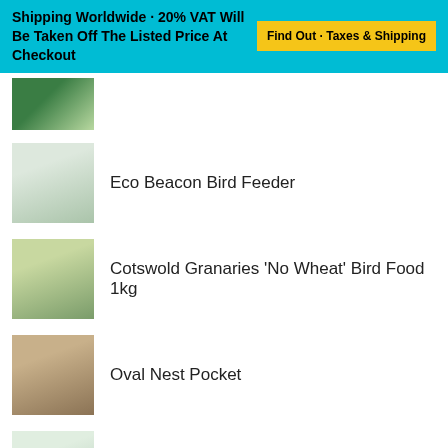Shipping Worldwide · 20% VAT Will Be Taken Off The Listed Price At Checkout | Find Out - Taxes & Shipping
Eco Beacon Bird Feeder
Cotswold Granaries 'No Wheat' Bird Food 1kg
Oval Nest Pocket
British Nesting Wool
More information on gifts available further down
QUANTITÉ
1